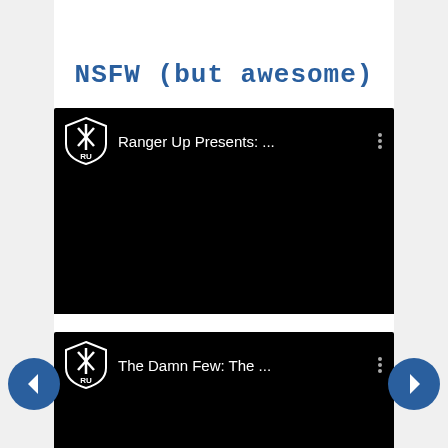NSFW (but awesome)
[Figure (screenshot): Video thumbnail card with Ranger Up shield logo and text 'Ranger Up Presents: ...' on black background]
[Figure (screenshot): Video thumbnail card with Ranger Up shield logo and text 'The Damn Few: The ...' on black background]